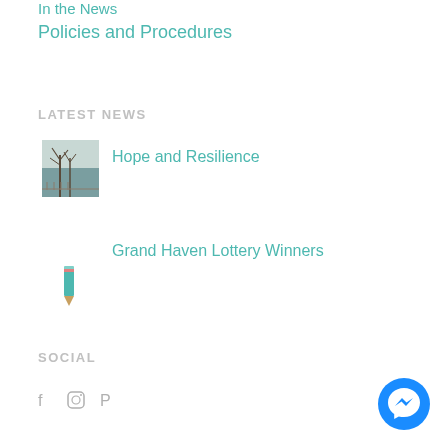In the News
Policies and Procedures
LATEST NEWS
[Figure (photo): Thumbnail photo of trees by water in winter/bare foliage scene]
Hope and Resilience
[Figure (illustration): Pencil/edit icon in teal color]
Grand Haven Lottery Winners
SOCIAL
[Figure (illustration): Social media icons: Facebook, Instagram, Pinterest]
[Figure (illustration): Facebook Messenger chat button (blue circle with messenger lightning bolt logo)]